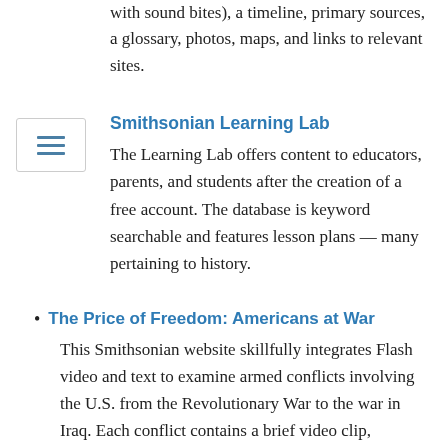with sound bites), a timeline, primary sources, a glossary, photos, maps, and links to relevant sites.
Smithsonian Learning Lab
The Learning Lab offers content to educators, parents, and students after the creation of a free account. The database is keyword searchable and features lesson plans — many pertaining to history.
The Price of Freedom: Americans at War — This Smithsonian website skillfully integrates Flash video and text to examine armed conflicts involving the U.S. from the Revolutionary War to the war in Iraq. Each conflict contains a brief video clip, statistical information, and a set of artifacts. There is also a Civil War mystery, an exhibition self-guide, and a teacher's guide. The New American Roles (1899-present) section contains an introductory movie and short essay on the conflict as well as historic images